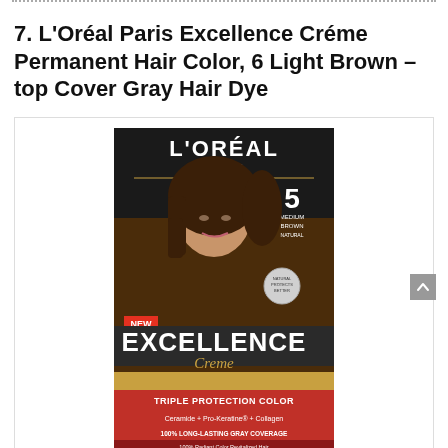7. L'Oréal Paris Excellence Créme Permanent Hair Color, 6 Light Brown – top Cover Gray Hair Dye
[Figure (photo): Product photo of L'Oréal Paris Excellence Créme hair color box, shade 5 Medium Brown Natural, showing a woman with short brown hair on the packaging. Box features 'NEW EXCELLENCE Creme TRIPLE PROTECTION COLOR, Ceramide + Pro-Keratine + Collagen, 100% Long-Lasting Gray Coverage, 100% Radiant Color, Revitalized Hair'.]